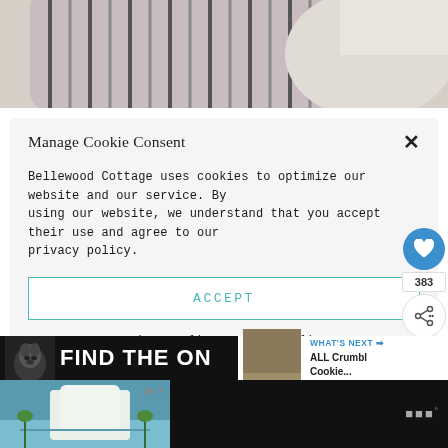[Figure (photo): Close-up photo of striped and plain pillow cushions on a bed or sofa]
Manage Cookie Consent
Bellewood Cottage uses cookies to optimize our website and our service. By using our website, we understand that you accept their use and agree to our privacy policy.
ACCEPT
Privacy Policy   Privacy Policy
[Figure (screenshot): Dog advertisement banner reading FIND THE ON with a dog image]
[Figure (screenshot): WHAT'S NEXT — ALL Crumbl Cookie... promotional widget with cookie image]
[Figure (screenshot): Bottom advertisement banner with beach house image]